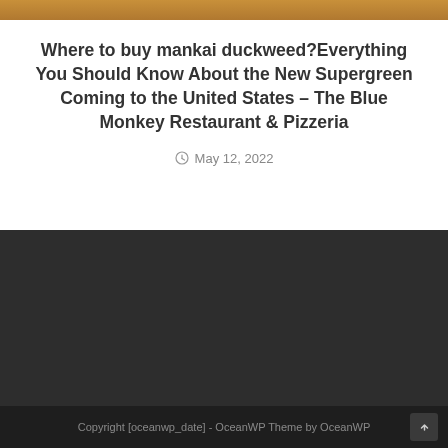[Figure (photo): Top image strip showing a food/pizza photo, partially visible at the top of the page]
Where to buy mankai duckweed?Everything You Should Know About the New Supergreen Coming to the United States – The Blue Monkey Restaurant & Pizzeria
May 12, 2022
Copyright [oceanwp_date] - OceanWP Theme by OceanWP